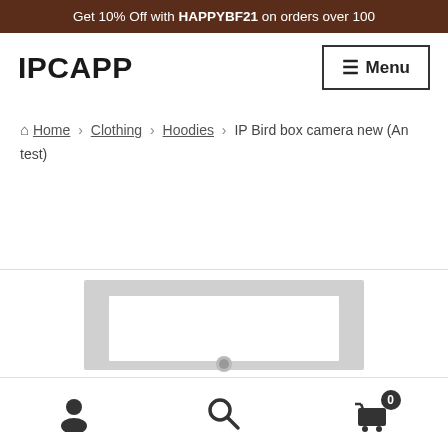Get 10% Off with HAPPYBF21 on orders over 100
IPCAPP
Menu
Home › Clothing › Hoodies › IP Bird box camera new (An test)
[Figure (photo): Partial product image of a bird box camera device, showing a rectangular frame with a white interior, cut off at the bottom of the page]
User icon, Search icon, Cart icon with badge 0